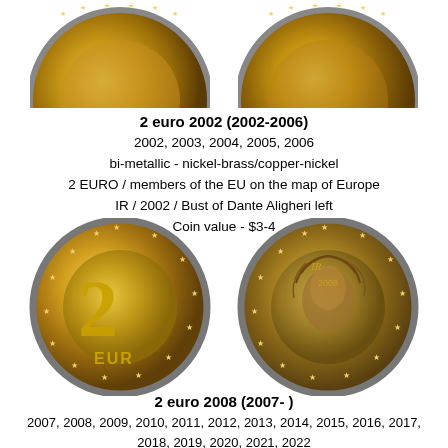[Figure (photo): Two partial 2 euro coins shown from top, cropped at upper edge]
2 euro 2002 (2002-2006)
2002, 2003, 2004, 2005, 2006
bi-metallic - nickel-brass/copper-nickel
2 EURO / members of the EU on the map of Europe
IR / 2002 / Bust of Dante Aligheri left
Coin value - $3-4
[Figure (photo): Two full 2 euro coins showing obverse (2 EURO face) and reverse (Dante Aligheri bust) for 2008 series]
2 euro 2008 (2007- )
2007, 2008, 2009, 2010, 2011, 2012, 2013, 2014, 2015, 2016, 2017, 2018, 2019, 2020, 2021, 2022
bi-metallic - nickel-brass/copper-nickel
2 EURO / complete map of Europe